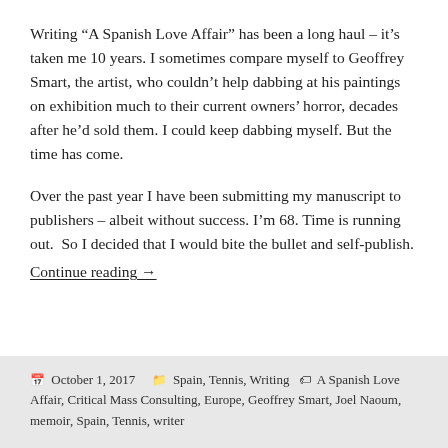Writing “A Spanish Love Affair” has been a long haul – it’s taken me 10 years. I sometimes compare myself to Geoffrey Smart, the artist, who couldn’t help dabbing at his paintings on exhibition much to their current owners’ horror, decades after he’d sold them. I could keep dabbing myself. But the time has come.
Over the past year I have been submitting my manuscript to publishers – albeit without success. I’m 68. Time is running out.  So I decided that I would bite the bullet and self-publish.
Continue reading →
October 1, 2017    Spain, Tennis, Writing   A Spanish Love Affair, Critical Mass Consulting, Europe, Geoffrey Smart, Joel Naoum, memoir, Spain, Tennis, writer